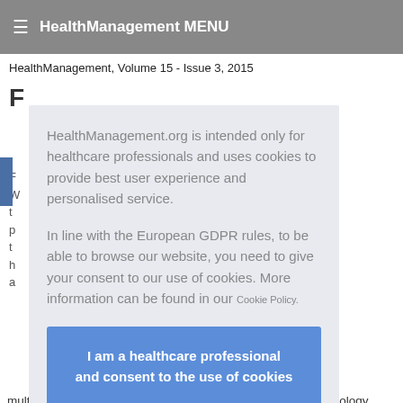HealthManagement MENU
HealthManagement, Volume 15 - Issue 3, 2015
HealthManagement.org is intended only for healthcare professionals and uses cookies to provide best user experience and personalised service.
In line with the European GDPR rules, to be able to browse our website, you need to give your consent to our use of cookies. More information can be found in our Cookie Policy.
I am a healthcare professional and consent to the use of cookies
multi-disciplinary care, organ donation to lupus, medical technology